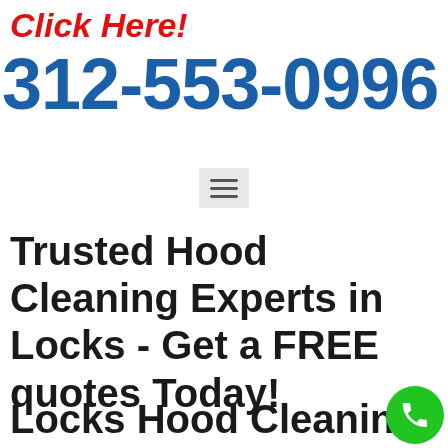Click Here!
312-553-0996
[Figure (other): Hamburger menu icon button (three horizontal lines) on a light grey rounded rectangle background]
Trusted Hood Cleaning Experts in Locks - Get a FREE quotes Today!
Locks Hood Cleaning
[Figure (other): Green circular phone call button with white telephone handset icon]